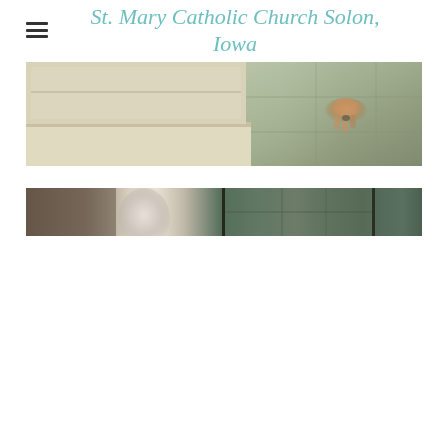St. Mary Catholic Church Solon, Iowa
[Figure (photo): Close-up photo of a kitchen or church counter area, showing a light-colored countertop surface on the left and a tiled or stone surface on the right with a hand holding a small object.]
[Figure (photo): Wide photo showing a person with white/gray hair (viewed from behind or side) inside what appears to be a church or community room with wooden furniture and teal/green cabinetry.]